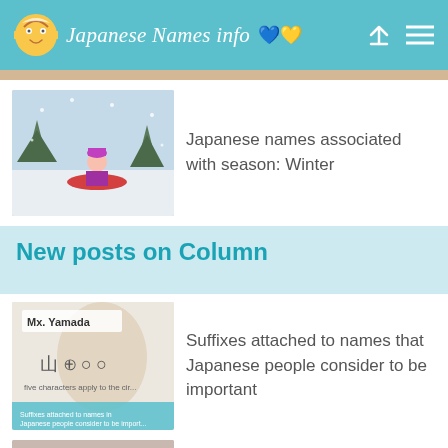Japanese Names info
[Figure (photo): Child sledding in snow, winter scene]
Japanese names associated with season: Winter
New posts on Column
[Figure (photo): Mx. Yamada article thumbnail with Japanese characters]
Suffixes attached to names that Japanese people consider to be important
[Figure (photo): Couple, mixed nationality]
The popular names for children of mixed nationality couples
[Figure (screenshot): SHE CAN STEM advertisement banner]